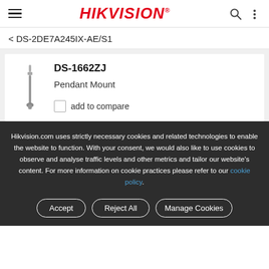HIKVISION
< DS-2DE7A245IX-AE/S1
DS-1662ZJ
Pendant Mount
add to compare
Hikvision.com uses strictly necessary cookies and related technologies to enable the website to function. With your consent, we would also like to use cookies to observe and analyse traffic levels and other metrics and tailor our website's content. For more information on cookie practices please refer to our cookie policy.
Accept | Reject All | Manage Cookies